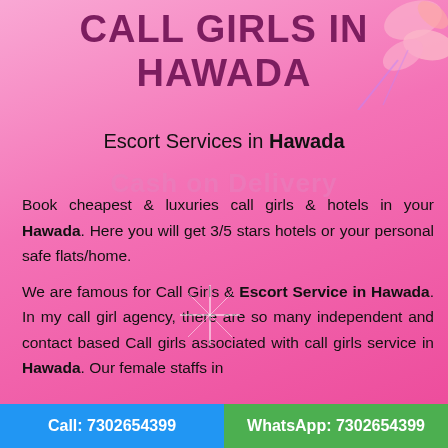CALL GIRLS IN HAWADA
Escort Services in Hawada
Cash on Delivery
Book cheapest & luxuries call girls & hotels in your Hawada. Here you will get 3/5 stars hotels or your personal safe flats/home.
We are famous for Call Girls & Escort Service in Hawada. In my call girl agency, there are so many independent and contact based Call girls associated with call girls service in Hawada. Our female staffs in Hawada Escort Call Girls in Hawada are outstanding.
Call: 7302654399    WhatsApp: 7302654399